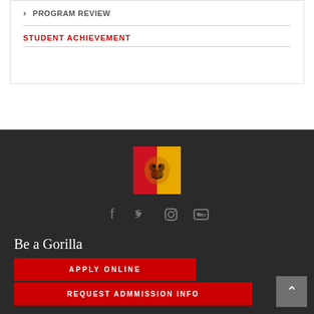PROGRAM REVIEW
STUDENT ACHIEVEMENT
[Figure (logo): Pittsburg State University Gorilla mascot logo — red and yellow square with gorilla face illustration]
[Figure (infographic): Social media icons: Facebook, Twitter, Instagram, YouTube — dark gray colored]
Be a Gorilla
APPLY ONLINE
REQUEST ADMMISSION INFO